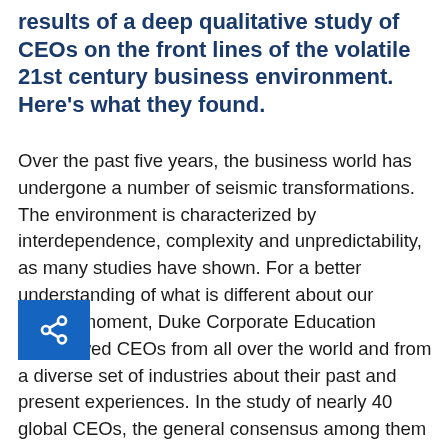results of a deep qualitative study of CEOs on the front lines of the volatile 21st century business environment. Here's what they found.
Over the past five years, the business world has undergone a number of seismic transformations. The environment is characterized by interdependence, complexity and unpredictability, as many studies have shown. For a better understanding of what is different about our current moment, Duke Corporate Education interviewed CEOs from all over the world and from a diverse set of industries about their past and present experiences. In the study of nearly 40 global CEOs, the general consensus among them is that the change the business world is experiencing post-2008 is more of a su[…]va than a 'perfect storm'. Recent global events ha[…]matically accelerated the move to a more interdependent world and have untethered many of